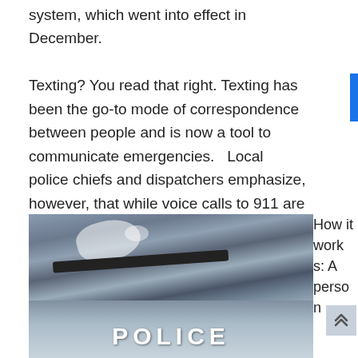system, which went into effect in December.
Texting? You read that right. Texting has been the go-to mode of correspondence between people and is now a tool to communicate emergencies.  Local police chiefs and dispatchers emphasize, however, that while voice calls to 911 are the most effective and fastest way to contact emergency services, texting 911 can be used when a victim can't speak in a high-stress situation, or if a person has a hearing problem.
[Figure (photo): Close-up photo of a police car windshield with wiper arm visible and 'POLICE' text on the hood]
How it works: A person